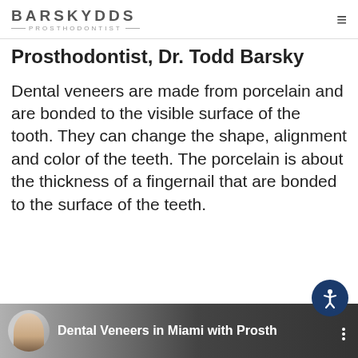BARSKYDDS PROSTHODONTIST
Prosthodontist, Dr. Todd Barsky
Dental veneers are made from porcelain and are bonded to the visible surface of the tooth. They can change the shape, alignment and color of the teeth. The porcelain is about the thickness of a fingernail that are bonded to the surface of the teeth.
[Figure (screenshot): Video thumbnail showing a man in a suit with text 'Dental Veneers in Miami with Prosth' on a dark background]